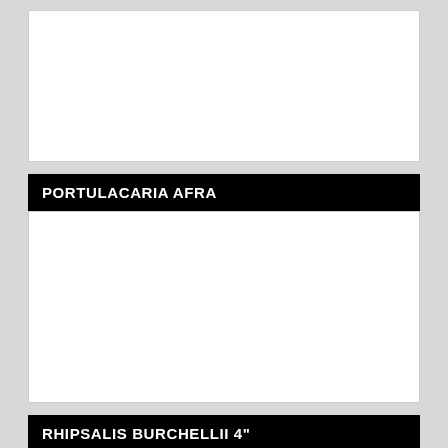[Figure (photo): White image area for plant photo (top, partially visible)]
PORTULACARIA AFRA
[Figure (photo): White image area for Portulacaria Afra plant photo]
RHIPSALIS BURCHELLII 4"
[Figure (photo): White image area for Rhipsalis Burchellii plant photo]
SEDUM ADOLPHII ADOLPHY 4"